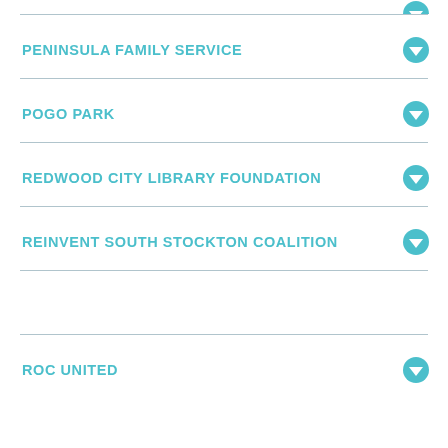PENINSULA FAMILY SERVICE
POGO PARK
REDWOOD CITY LIBRARY FOUNDATION
REINVENT SOUTH STOCKTON COALITION
ROC UNITED